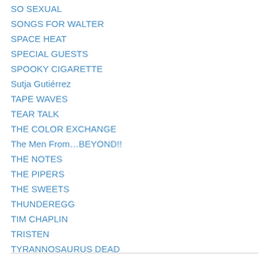SO SEXUAL
SONGS FOR WALTER
SPACE HEAT
SPECIAL GUESTS
SPOOKY CIGARETTE
Sutja Gutiérrez
TAPE WAVES
TEAR TALK
THE COLOR EXCHANGE
The Men From…BEYOND!!
THE NOTES
THE PIPERS
THE SWEETS
THUNDEREGG
TIM CHAPLIN
TRISTEN
TYRANNOSAURUS DEAD